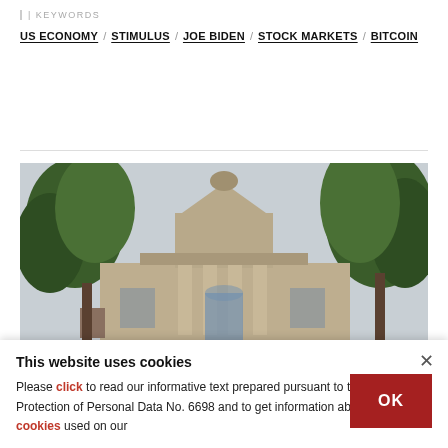KEYWORDS
US ECONOMY / STIMULUS / JOE BIDEN / STOCK MARKETS / BITCOIN
[Figure (photo): Exterior of an ornate historic building with classical architectural details, flanked by green trees on both sides against an overcast sky.]
This website uses cookies
Please click to read our informative text prepared pursuant to the Law on the Protection of Personal Data No. 6698 and to get information about the cookies used on our